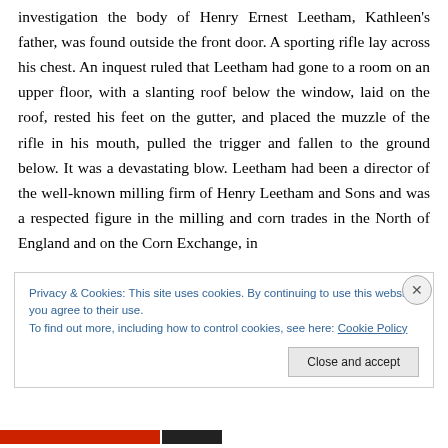investigation the body of Henry Ernest Leetham, Kathleen's father, was found outside the front door. A sporting rifle lay across his chest. An inquest ruled that Leetham had gone to a room on an upper floor, with a slanting roof below the window, laid on the roof, rested his feet on the gutter, and placed the muzzle of the rifle in his mouth, pulled the trigger and fallen to the ground below. It was a devastating blow. Leetham had been a director of the well-known milling firm of Henry Leetham and Sons and was a respected figure in the milling and corn trades in the North of England and on the Corn Exchange, in
Privacy & Cookies: This site uses cookies. By continuing to use this website, you agree to their use.
To find out more, including how to control cookies, see here: Cookie Policy
Close and accept